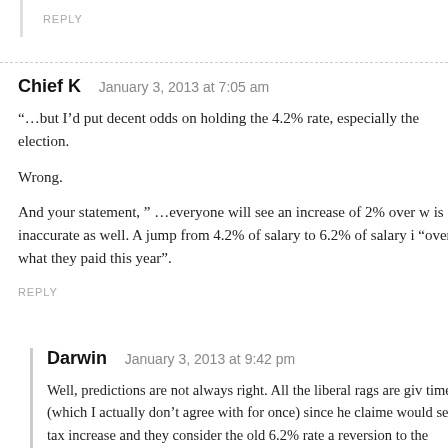REPLY
Chief K   January 3, 2013 at 7:05 am
“…but I’d put decent odds on holding the 4.2% rate, especially the election.
Wrong.
And your statement, " …everyone will see an increase of 2% over w is inaccurate as well. A jump from 4.2% of salary to 6.2% of salary i “over what they paid this year”.
REPLY
Darwin   January 3, 2013 at 9:42 pm
Well, predictions are not always right. All the liberal rags are giv time (which I actually don't agree with for once) since he claime would see a tax increase and they consider the old 6.2% rate a reversion to the existing limit which had been in place prior. But